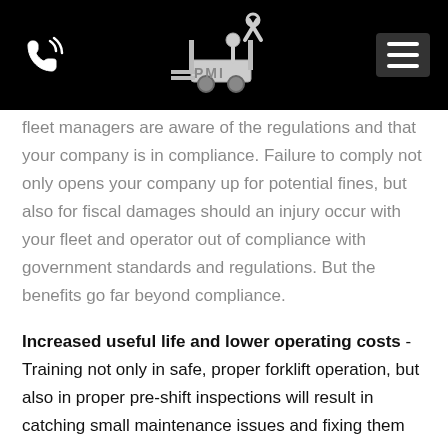[PMI logo with phone icon and navigation menu]
fleet managers are aware of the regulations and that your company is in compliance. Failure to comply not only opens your company up for potential fines, but also for fiscal damages should an injury occur with your fleet and operator out of compliance with government standards and regulations. But the benefits go far beyond compliance.
Increased useful life and lower operating costs - Training not only in safe, proper forklift operation, but also in proper pre-shift inspections will result in catching small maintenance issues and fixing them before they blossom into giant repair headaches. Knowing proper methods of